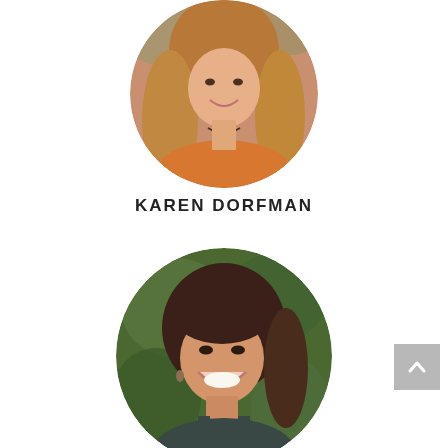[Figure (photo): Circular cropped portrait photo of a woman with long blonde/brown hair wearing an orange top, shown from shoulders up, smiling]
KAREN DORFMAN
[Figure (photo): Circular cropped portrait photo of a smiling woman with dark reddish-brown hair wearing a dark sleeveless top, photographed against a green bokeh background]